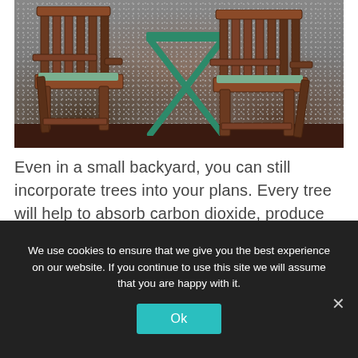[Figure (photo): Outdoor patio scene with two brown wooden Adirondack chairs with green cushions on a gravel surface, a green X-frame side table in the middle, and a dark brown wall in the background.]
Even in a small backyard, you can still incorporate trees into your plans. Every tree will help to absorb carbon dioxide, produce oxygen and look after the planet.
We use cookies to ensure that we give you the best experience on our website. If you continue to use this site we will assume that you are happy with it.